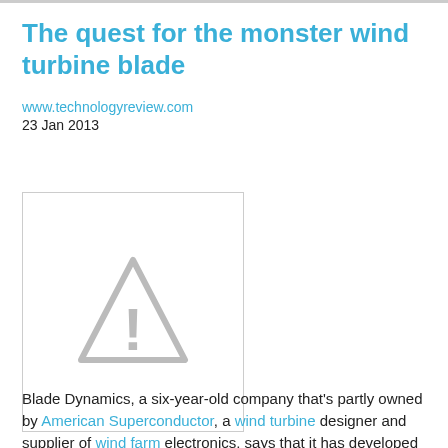The quest for the monster wind turbine blade
www.technologyreview.com
23 Jan 2013
[Figure (illustration): Placeholder image with a warning/alert triangle icon indicating an image that could not be loaded]
Blade Dynamics, a six-year-old company that's partly owned by American Superconductor, a wind turbine designer and supplier of wind farm electronics, says that it has developed technology